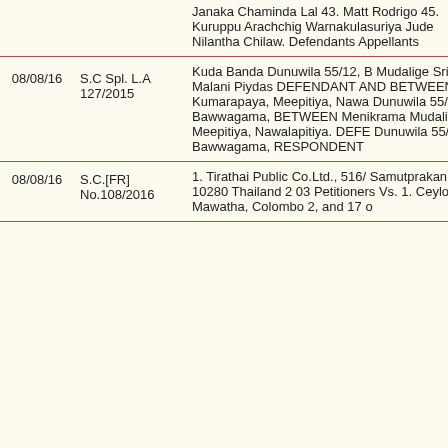| Date | Case No. | Description |
| --- | --- | --- |
|  |  | Janaka Chaminda Lal 43. Matt Rodrigo 45. Kuruppu Arachchig Warnakulasuriya Jude Nilantha Chilaw. Defendants Appellants |
| 08/08/16 | S.C Spl. L.A 127/2015 | Kuda Banda Dunuwila 55/12, B Mudalige Sriya Malani Piydas DEFENDANT AND BETWEEN Kumarapaya, Meepitiya, Nawa Dunuwila 55/12, Bawwagama, BETWEEN Menikrama Mudalig Meepitiya, Nawalapitiya. DEFE Dunuwila 55/12, Bawwagama, RESPONDENT |
| 08/08/16 | S.C.[FR] No.108/2016 | 1. Tirathai Public Co.Ltd., 516/ Samutprakan 10280 Thailand 2 03 Petitioners Vs. 1. Ceylon El Mawatha, Colombo 2, and 17 o |